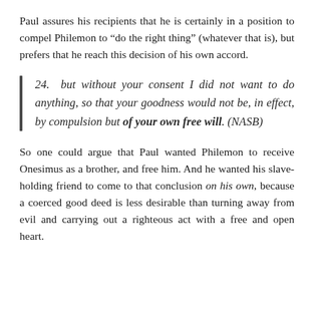Paul assures his recipients that he is certainly in a position to compel Philemon to “do the right thing” (whatever that is), but prefers that he reach this decision of his own accord.
24.  but without your consent I did not want to do anything, so that your goodness would not be, in effect, by compulsion but of your own free will. (NASB)
So one could argue that Paul wanted Philemon to receive Onesimus as a brother, and free him. And he wanted his slave-holding friend to come to that conclusion on his own, because a coerced good deed is less desirable than turning away from evil and carrying out a righteous act with a free and open heart.